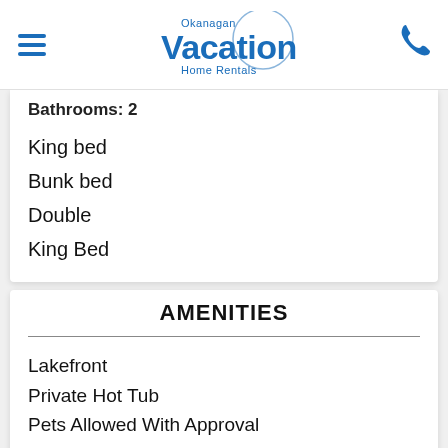Okanagan Vacation Home Rentals
Bathrooms: 2
King bed
Bunk bed
Double
King Bed
AMENITIES
Lakefront
Private Hot Tub
Pets Allowed With Approval
Internet Access
Air Conditioning
Full Kitchen
Dishwasher
Microwave